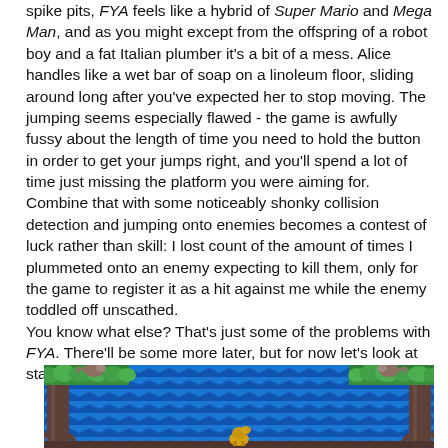spike pits, FYA feels like a hybrid of Super Mario and Mega Man, and as you might except from the offspring of a robot boy and a fat Italian plumber it's a bit of a mess. Alice handles like a wet bar of soap on a linoleum floor, sliding around long after you've expected her to stop moving. The jumping seems especially flawed - the game is awfully fussy about the length of time you need to hold the button in order to get your jumps right, and you'll spend a lot of time just missing the platform you were aiming for. Combine that with some noticeably shonky collision detection and jumping onto enemies becomes a contest of luck rather than skill: I lost count of the amount of times I plummeted onto an enemy expecting to kill them, only for the game to register it as a hit against me while the enemy toddled off unscathed. You know what else? That's just some of the problems with FYA. There'll be some more later, but for now let's look at stage two, The Falls.
[Figure (screenshot): A retro-style video game screenshot showing a platformer level with green grassy terrain, blue water/waterfall background with wave patterns, brown tree trunks, and a small character sprite at the bottom center. The scene appears to be 'The Falls' stage.]